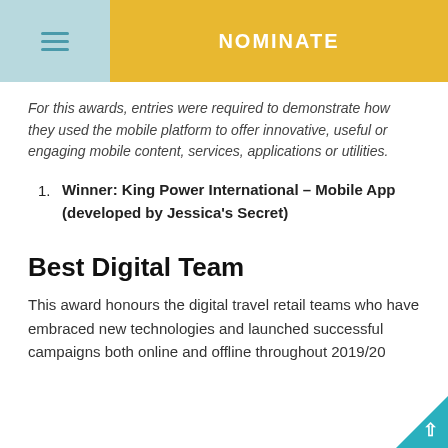NOMINATE
For this awards, entries were required to demonstrate how they used the mobile platform to offer innovative, useful or engaging mobile content, services, applications or utilities.
Winner: King Power International – Mobile App (developed by Jessica's Secret)
Best Digital Team
This award honours the digital travel retail teams who have embraced new technologies and launched successful campaigns both online and offline throughout 2019/20